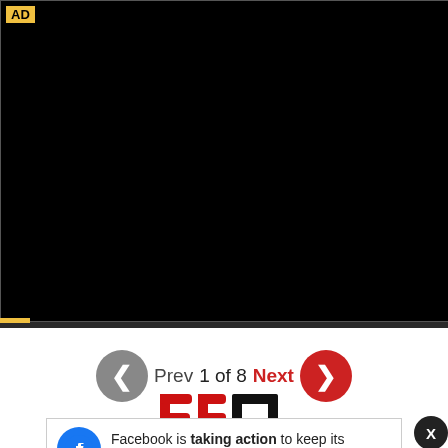[Figure (screenshot): Advertisement banner with black video area, AD label, Learn More text, on dark background]
Prev  1 of 8  Next
[Figure (logo): BSO logo in red and black]
BSO Newsletter
Facebook is taking action to keep its platform safe.